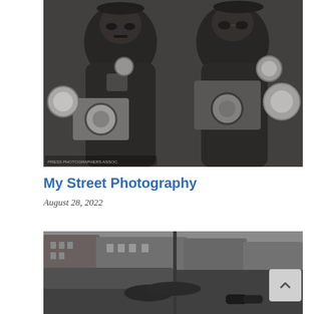[Figure (photo): Black and white photograph of two men holding large vintage press cameras with flash attachments, facing the viewer.]
My Street Photography
August 28, 2022
[Figure (photo): Black and white street photograph showing a person lying or leaning against a pole or bench in an urban setting with buildings in the background.]